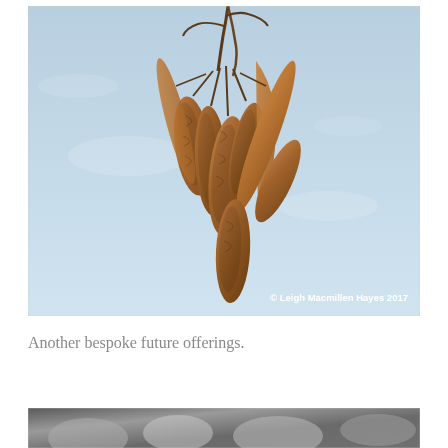[Figure (photo): Close-up photograph of dried maple seed pods (samaras) hanging in a cluster against a light blue sky background. Copyright watermark reads '© Leigh Macmillen Hayes 2017' in white text at the bottom right.]
Another bespoke future offerings.
[Figure (photo): Partial view of a black and white photograph at the bottom of the page, content partially cropped.]